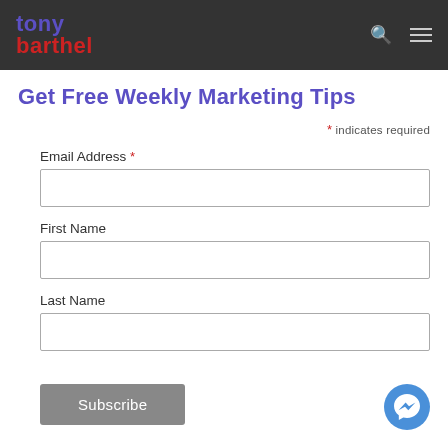tony barthel
Get Free Weekly Marketing Tips
* indicates required
Email Address *
First Name
Last Name
Subscribe
Categories
All
Business Management